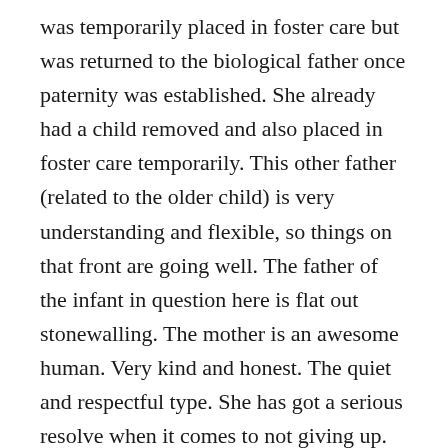was temporarily placed in foster care but was returned to the biological father once paternity was established. She already had a child removed and also placed in foster care temporarily. This other father (related to the older child) is very understanding and flexible, so things on that front are going well. The father of the infant in question here is flat out stonewalling. The mother is an awesome human. Very kind and honest. The quiet and respectful type. She has got a serious resolve when it comes to not giving up.
I agree with this comment – She may need a lawyer, this is crazy, if her and baby was clean at delivery her baby shouldn't have been removed. I would also suggest she motion the court for unsupervised visitation. The Department of Children and Families are not the boss, they are truly the opposition. She can ask the judge for anything she wants. Lawyers often fall in line with the Department